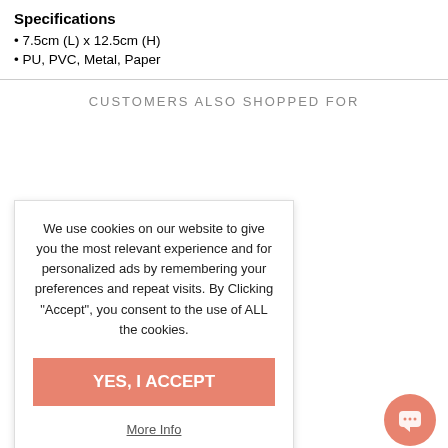Specifications
7.5cm (L) x 12.5cm (H)
PU, PVC, Metal, Paper
CUSTOMERS ALSO SHOPPED FOR
[Figure (photo): Personalized Bridal Party Heart & Crystal Jewellery Gift Set product photo showing necklace and earrings on gift card]
Personalized Bridal Party Heart & Crystal Jewellery Gift Set - Mother-In-Law
$32.00 CAD
$27.99 CAD sale
2 x 3 colours
We use cookies on our website to give you the most relevant experience and for personalized ads by remembering your preferences and repeat visits. By Clicking "Accept", you consent to the use of ALL the cookies.
YES, I ACCEPT
More Info
OF 6